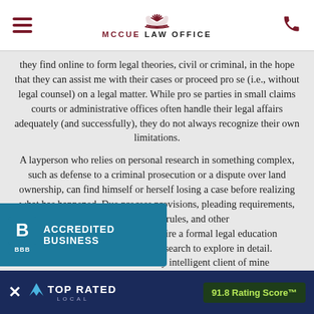McCue Law Office
they find online to form legal theories, civil or criminal, in the hope that they can assist me with their cases or proceed pro se (i.e., without legal counsel) on a legal matter. While pro se parties in small claims courts or administrative offices often handle their legal affairs adequately (and successfully), they do not always recognize their own limitations.
A layperson who relies on personal research in something complex, such as defense to a criminal prosecution or a dispute over land ownership, can find himself or herself losing a case before realizing what has happened. Due process provisions, pleading requirements, summary judgment rules, and other can require a formal legal education hours of research to explore in detail. ndoubtedly intelligent client of mine pointed me thought, form charge be fo
[Figure (logo): BBB Accredited Business badge - teal/blue background with BBB logo and text]
[Figure (logo): Top Rated Local bar with 91.8 Rating Score badge]